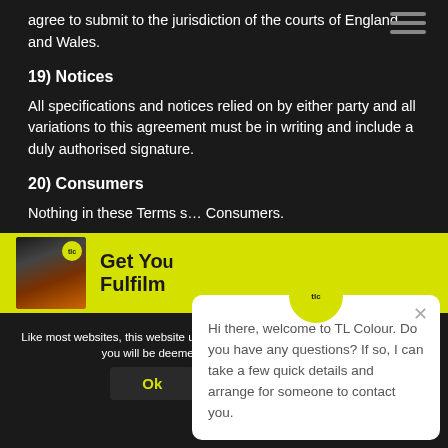agree to submit to the jurisdiction of the courts of England and Wales.
19) Notices
All specifications and notices relied on by either party and all variations to this agreement must be in writing and include a duly authorised signature.
20) Consumers
Nothing in these Terms s… Consumers.
21) Severability
[Figure (screenshot): Chat popup from TL Colour with message: Hi there, welcome to TL Colour. Do you have any questions? If so, I can take a few quick details and arrange for someone to contact you.]
[Figure (infographic): Yellow banner with book image and text: Get You Fulfilm]
Like most websites, this website uses cookies. By continuing to use our website you will be deemed to accept our use of cookies
Ok
Read more